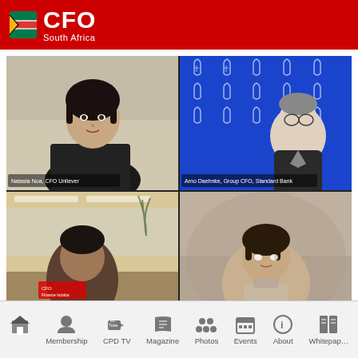CFO South Africa
[Figure (screenshot): Video conference screenshot showing four participants in a 2x2 grid. Top-left: woman with dark hair in patterned top. Top-right: man in suit against Standard Bank blue branded backdrop. Bottom-left: man in casual setting with date overlay '09 June 2022'. Bottom-right: woman in beige top, blurred background. Labels visible for participants.]
Are companies serious about ESG or is it just paying lip services?
If it is not purposeful, then it's just lip service, CFOs told Finance Indaba attendees.
Membership  CPD TV  Magazine  Photos  Events  About  Whitepaper